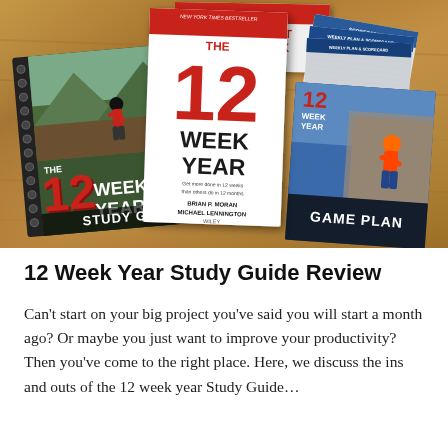[Figure (photo): Photo of The 12 Week Year book set including the main book, study guide (spiral notebook), game plan booklet, participant workbook, and weekly plan scorecards, arranged on a wooden surface.]
12 Week Year Study Guide Review
Can't start on your big project you've said you will start a month ago? Or maybe you just want to improve your productivity? Then you've come to the right place. Here, we discuss the ins and outs of the 12 week year Study Guide…